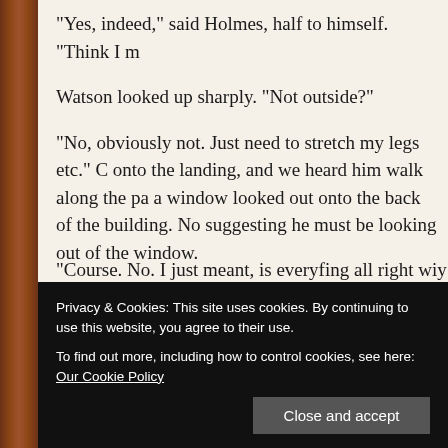“Yes, indeed,” said Holmes, half to himself. “Think I m…
Watson looked up sharply. “Not outside?”
“No, obviously not. Just need to stretch my legs etc.” C… onto the landing, and we heard him walk along the pa… a window looked out onto the back of the building. No… suggesting he must be looking out of the window.
I glanced at Watson. “Everyfing all right, Doc?”
“Aside from my missing wife, yes.”
“Course. No. I just meant, is everyfing all right wiy his…
Privacy & Cookies: This site uses cookies. By continuing to use this website, you agree to their use.
To find out more, including how to control cookies, see here: Our Cookie Policy
Close and accept